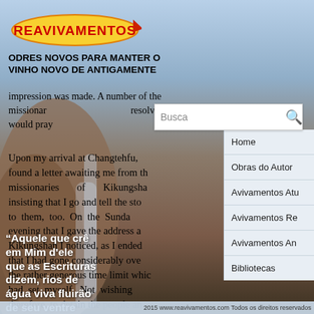[Figure (logo): Reavivamentos logo - yellow/orange flame shape with red text]
ODRES NOVOS PARA MANTER O VINHO NOVO DE ANTIGAMENTE
impression was made. A number of the missionaries resolved that they would pray

Upon my arrival at Changtehfu, found a letter awaiting me from th missionaries of Kikungsha insisting that I go and tell the sto to them, too. On the Sunda evening that I gave the address a Kikungshan I noticed, as I ended that I had gone considerably ov the rather generous time limit whic had set myself. Not wishing therefore, to detain the people an therefore, omitted the closing hym simply pronounced th benediction. But to my surprise, fo at least six minutes no one stirred The stillness of death seemed pervade the assembly. The
"Aquele que crê em Mim d'eleçather que as Escrituras dizem, rios de água viva fluirão de seu ventre João 7:38
Home
Obras do Autor
Avivamentos Atu
Avivamentos Re
Avivamentos An
Bibliotecas
2015 www.reavivamentos.com Todos os direitos reservados